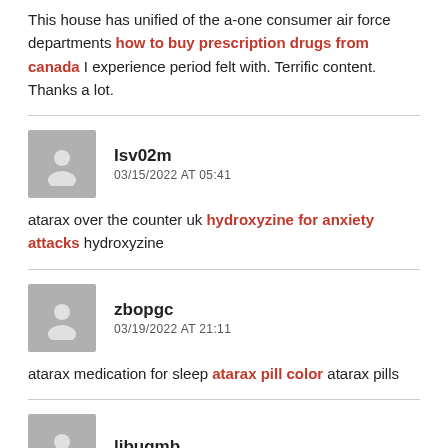This house has unified of the a-one consumer air force departments how to buy prescription drugs from canada I experience period felt with. Terrific content. Thanks a lot.
Isv02m
03/15/2022 AT 05:41
atarax over the counter uk hydroxyzine for anxiety attacks hydroxyzine
zbopgc
03/19/2022 AT 21:11
atarax medication for sleep atarax pill color atarax pills
libuqmb